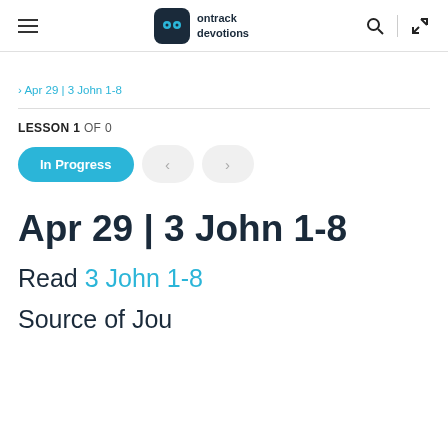ontrack devotions
> Apr 29 | 3 John 1-8
LESSON 1 OF 0
In Progress
Apr 29 | 3 John 1-8
Read 3 John 1-8
Source of Jou